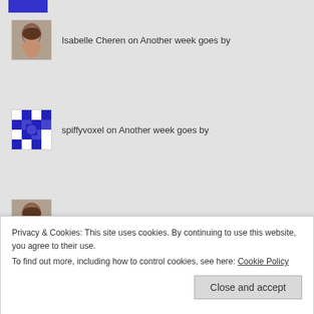[Figure (photo): Partial avatar at top of page, blue pixel pattern, cropped]
Isabelle Cheren on Another week goes by
spiffyvoxel on Another week goes by
Isabelle Cheren on Cool as a cucumber
ARCHIVES
> August 2022 (11)
Privacy & Cookies: This site uses cookies. By continuing to use this website, you agree to their use.
To find out more, including how to control cookies, see here: Cookie Policy
> February 2022 (10)